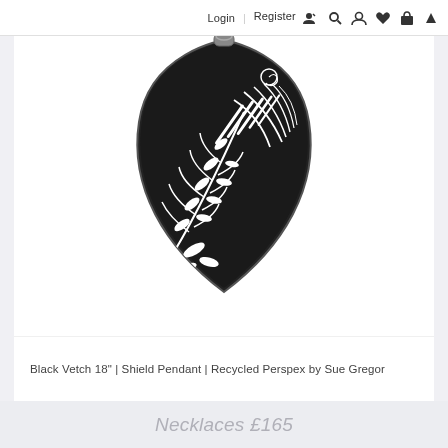Login | Register 🧑✏ 🔍 👤 ♥ 🛍 ▲
[Figure (photo): Close-up product photo of a black shield-shaped pendant with white botanical leaf and fern patterns (Black Vetch design), made from recycled Perspex. The pendant is photographed from above on a white background.]
Black Vetch 18" | Shield Pendant | Recycled Perspex by Sue Gregor
Necklaces £165